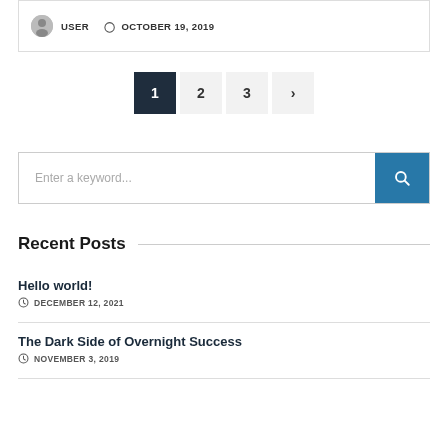USER   OCTOBER 19, 2019
1  2  3  >
Enter a keyword...
Recent Posts
Hello world!
DECEMBER 12, 2021
The Dark Side of Overnight Success
NOVEMBER 3, 2019